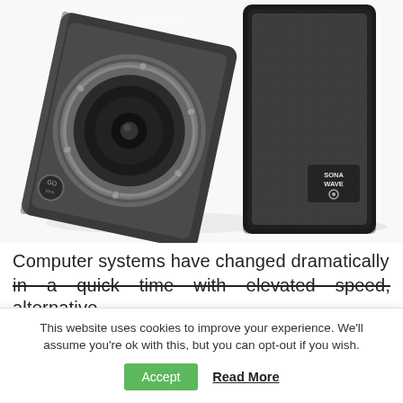[Figure (photo): Two black computer speakers leaning against each other. Left speaker shows the woofer cone with a circular gray bezel and screws, with a small 'GO' logo badge. Right speaker has a textured fabric grille with a 'SONA WAVE' logo badge. Both speakers are on a white surface with reflections.]
Computer systems have changed dramatically in a quick time with elevated speed, alternative
This website uses cookies to improve your experience. We'll assume you're ok with this, but you can opt-out if you wish.
Accept   Read More